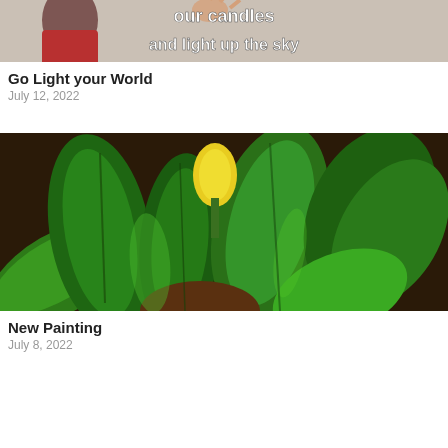[Figure (photo): Partial view of a woman in a red top with text overlay reading 'our candles and light up the sky']
Go Light your World
July 12, 2022
[Figure (photo): Painting of green tropical leaves with a yellow flower bud in the center on a dark background]
New Painting
July 8, 2022